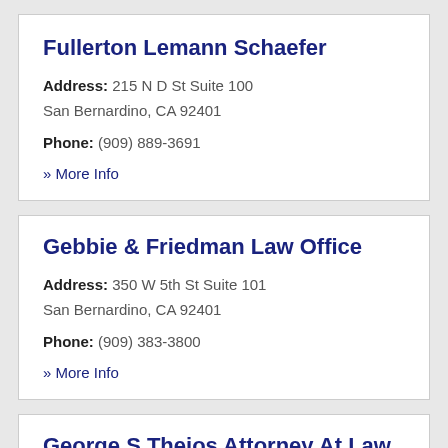Fullerton Lemann Schaefer
Address: 215 N D St Suite 100 San Bernardino, CA 92401
Phone: (909) 889-3691
» More Info
Gebbie & Friedman Law Office
Address: 350 W 5th St Suite 101 San Bernardino, CA 92401
Phone: (909) 383-3800
» More Info
George S Theios Attorney At Law
Address: 155 W Hospitality Ln Suite 253